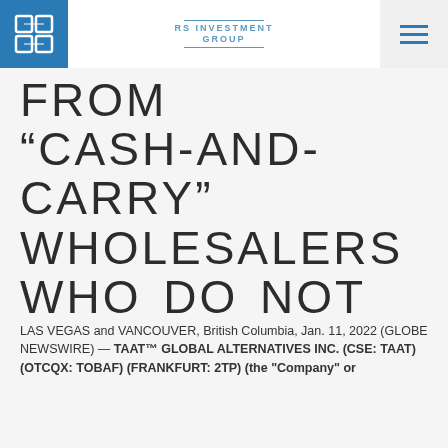RS INVESTMENT GROUP
FROM "CASH-AND-CARRY" WHOLESALERS WHO DO NOT COLLECT THE SAME SCOPE OF DATA AS FULL-SERVICE DISTRIBUTORS AS PART OF THEIR BUSINESS MODEL.
LAS VEGAS and VANCOUVER, British Columbia, Jan. 11, 2022 (GLOBE NEWSWIRE) — TAAT™ GLOBAL ALTERNATIVES INC. (CSE: TAAT) (OTCQX: TOBAF) (FRANKFURT: 2TP) (the "Company" or